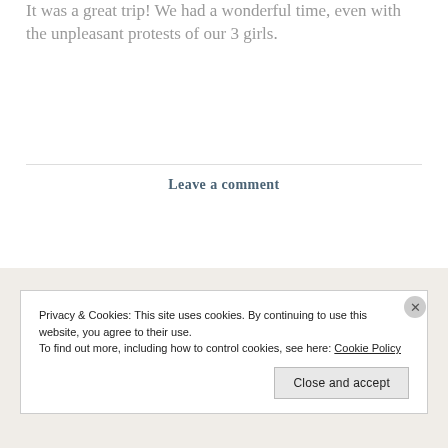It was a great trip! We had a wonderful time, even with the unpleasant protests of our 3 girls.
Leave a comment
Privacy & Cookies: This site uses cookies. By continuing to use this website, you agree to their use.
To find out more, including how to control cookies, see here: Cookie Policy
Close and accept